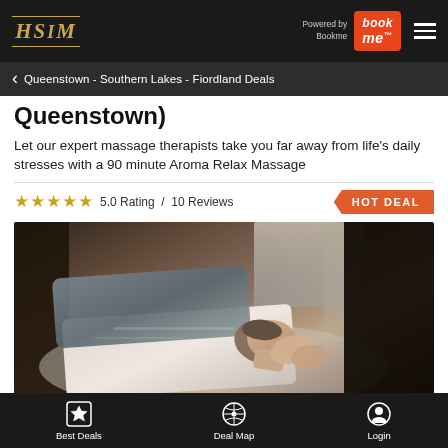HSIM — Powered by Bookme
Queenstown - Southern Lakes - Fiordland Deals
Queenstown)
Let our expert massage therapists take you far away from life's daily stresses with a 90 minute Aroma Relax Massage
5.0 Rating / 10 Reviews — HOT DEAL
[Figure (photo): Person lying on a massage table receiving a massage, therapist's hands visible near head, warm ambient spa lighting]
Best Deals — Deal Map — Login